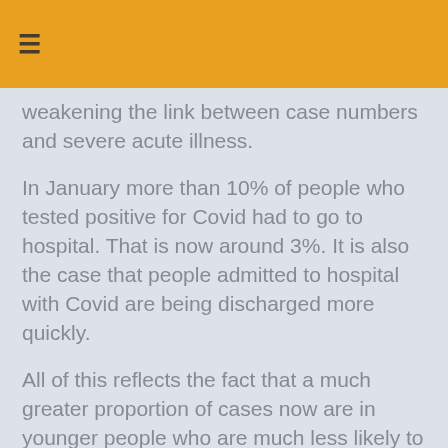≡
weakening the link between case numbers and severe acute illness.
In January more than 10% of people who tested positive for Covid had to go to hospital. That is now around 3%. It is also the case that people admitted to hospital with Covid are being discharged more quickly.
All of this reflects the fact that a much greater proportion of cases now are in younger people who are much less likely to become seriously ill.